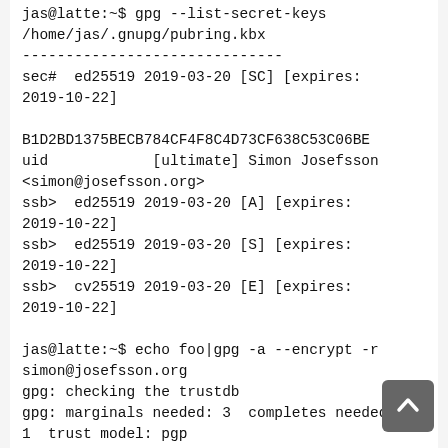jas@latte:~$ gpg --list-secret-keys /home/jas/.gnupg/pubring.kbx
------------------------------
sec#  ed25519 2019-03-20 [SC] [expires:
2019-10-22]

B1D2BD1375BECB784CF4F8C4D73CF638C53C06BE
uid            [ultimate] Simon Josefsson <simon@josefsson.org>
ssb>  ed25519 2019-03-20 [A] [expires:
2019-10-22]
ssb>  ed25519 2019-03-20 [S] [expires:
2019-10-22]
ssb>  cv25519 2019-03-20 [E] [expires:
2019-10-22]

jas@latte:~$ echo foo|gpg -a --encrypt -r simon@josefsson.org
gpg: checking the trustdb
gpg: marginals needed: 3  completes needed:
1  trust model: pgp
gpg: depth: 0  valid:   1  signed:   0
trust: 0-, 0q, 0n, 0m, 0f, 1u
gpg: next trustdb check due at 2019-10-22